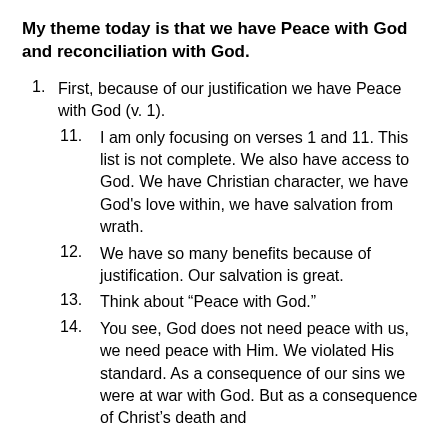My theme today is that we have Peace with God and reconciliation with God.
1. First, because of our justification we have Peace with God (v. 1).
11. I am only focusing on verses 1 and 11. This list is not complete. We also have access to God. We have Christian character, we have God's love within, we have salvation from wrath.
12. We have so many benefits because of justification. Our salvation is great.
13. Think about “Peace with God.”
14. You see, God does not need peace with us, we need peace with Him. We violated His standard. As a consequence of our sins we were at war with God. But as a consequence of Christ’s death and